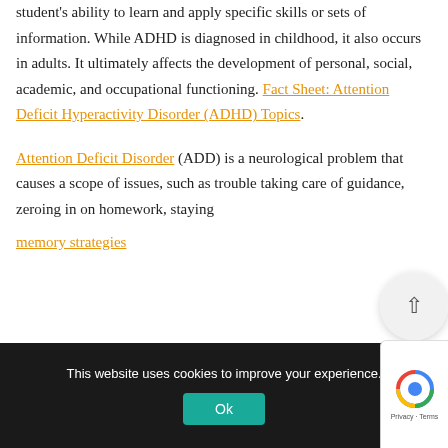student's ability to learn and apply specific skills or sets of information. While ADHD is diagnosed in childhood, it also occurs in adults. It ultimately affects the development of personal, social, academic, and occupational functioning. Fact Sheet: Attention Deficit Hyperactivity Disorder (ADHD) Topics.
Attention Deficit Disorder (ADD) is a neurological problem that causes a scope of issues, such as trouble taking care of guidance, zeroing in on homework, staying memory strategies
This website uses cookies to improve your experience.